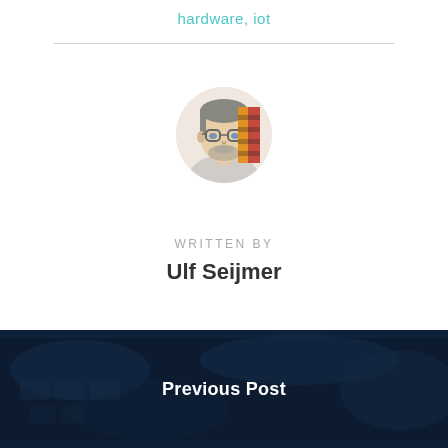hardware, iot
[Figure (photo): Circular profile photo of Ulf Seijmer, a man with glasses and beard, overlaid with a partial decorative logo element in red/orange and gold colors]
WRITTEN BY
Ulf Seijmer
Previous Post